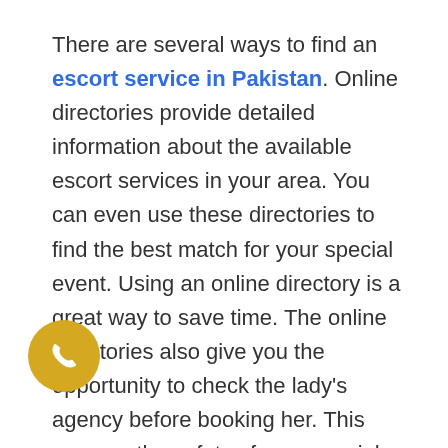There are several ways to find an escort service in Pakistan. Online directories provide detailed information about the available escort services in your area. You can even use these directories to find the best match for your special event. Using an online directory is a great way to save time. The online directories also give you the opportunity to check the lady's agency before booking her. This ensures the safety of your special day.
Although Pakistan has strict moral and religious beliefs, escort services have developed in recent years. In fact, escort agencies in Lahore have numerous tourists in their search for the perfect companion. These services have even
[Figure (other): Yellow/gold circular phone call button with white telephone handset icon]